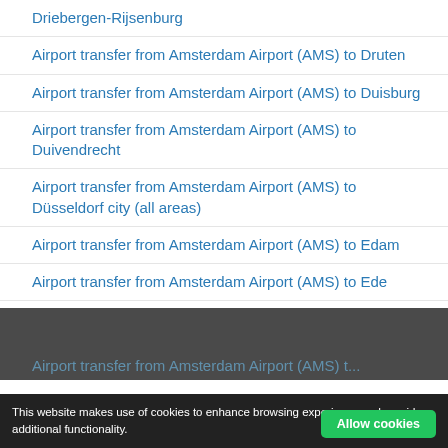Driebergen-Rijsenburg
Airport transfer from Amsterdam Airport (AMS) to Druten
Airport transfer from Amsterdam Airport (AMS) to Duisburg
Airport transfer from Amsterdam Airport (AMS) to Duivendrecht
Airport transfer from Amsterdam Airport (AMS) to Düsseldorf city (all areas)
Airport transfer from Amsterdam Airport (AMS) to Edam
Airport transfer from Amsterdam Airport (AMS) to Ede
Airport transfer from Amsterdam Airport (AMS) to [partially visible]
This website makes use of cookies to enhance browsing experience and provide additional functionality.